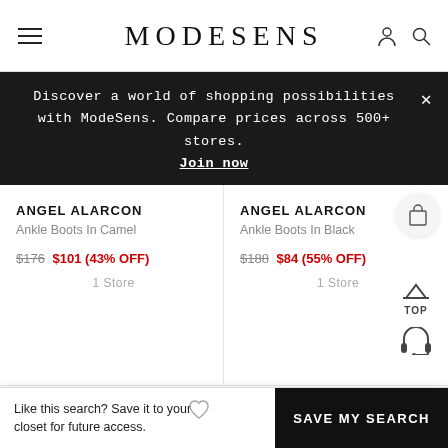MODESENS
Discover a world of shopping possibilities with ModeSens. Compare prices across 500+ stores. Join now
ANGEL ALARCON
Ankle Boots In Camel
$176 $101 (43% OFF)
1 Store
ANGEL ALARCON
Ankle Boots In Black
$188 $84 (55% OFF)
1 Store
[Figure (photo): Ankle boot product photo in brown/camel color]
[Figure (photo): Ankle boot product photo in black color]
Like this search? Save it to your closet for future access.
SAVE MY SEARCH